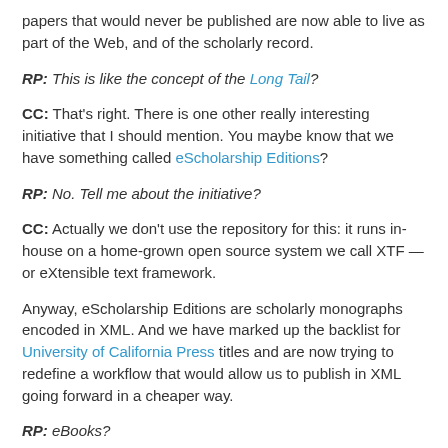papers that would never be published are now able to live as part of the Web, and of the scholarly record.
RP: This is like the concept of the Long Tail?
CC: That’s right. There is one other really interesting initiative that I should mention. You maybe know that we have something called eScholarship Editions?
RP: No. Tell me about the initiative?
CC: Actually we don’t use the repository for this: it runs in-house on a home-grown open source system we call XTF — or eXtensible text framework.
Anyway, eScholarship Editions are scholarly monographs encoded in XML. And we have marked up the backlist for University of California Press titles and are now trying to redefine a workflow that would allow us to publish in XML going forward in a cheaper way.
RP: eBooks?